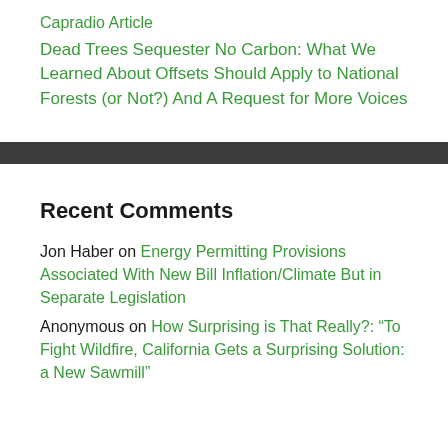Capradio Article
Dead Trees Sequester No Carbon: What We Learned About Offsets Should Apply to National Forests (or Not?) And A Request for More Voices
Recent Comments
Jon Haber on Energy Permitting Provisions Associated With New Bill Inflation/Climate But in Separate Legislation
Anonymous on How Surprising is That Really?: “To Fight Wildfire, California Gets a Surprising Solution: a New Sawmill”